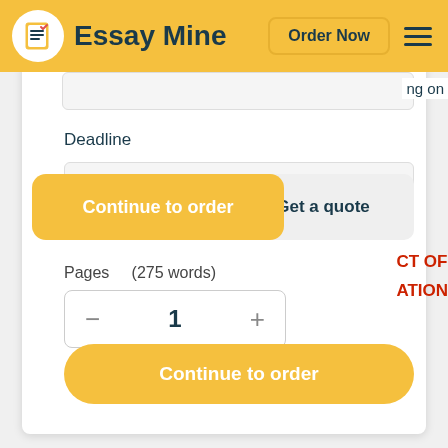Essay Mine | Order Now
ng on
Deadline
[Figure (screenshot): Continue to order tooltip button overlapping deadline input field]
Get a quote
Pages (275 words)
− 1 +
CT OF ATION
Approximate price: $13
Continue to order